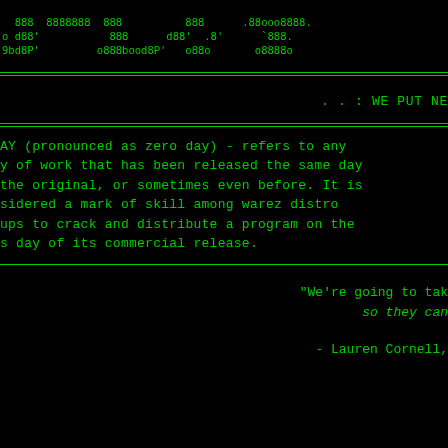[Figure (other): ASCII art text logo in green monospace font on black background, showing stylized characters: '888 8888888 888 888 .88ooo8888.' / 'o d88' 888 d88' .8' `888.' / '9bd8P' o888bood8P' o88o o8888o']
. . : WE PUT NE
AY (pronounced as zero day) - refers to any y of work that has been released the same day the original, or sometimes even before. It is sidered a mark of skill among warez distro ups to crack and distribute a program on the s day of its commercial release.
"We're going to tak
so they can
- Lauren Cornell,